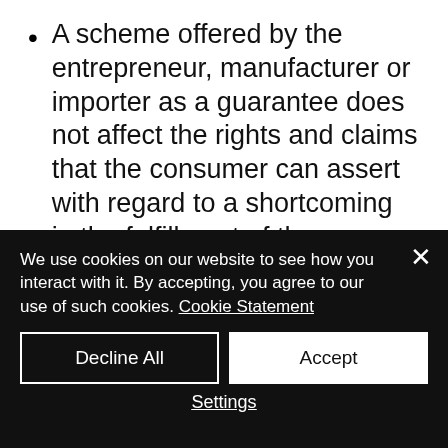A scheme offered by the entrepreneur, manufacturer or importer as a guarantee does not affect the rights and claims that the consumer can assert with regard to a shortcoming in the fulfillment of the obligations of the entrepreneur towards the entrepreneur on the basis of the law and / or or the distance agreement.
Article 11: Delivery and...
We use cookies on our website to see how you interact with it. By accepting, you agree to our use of such cookies. Cookie Statement